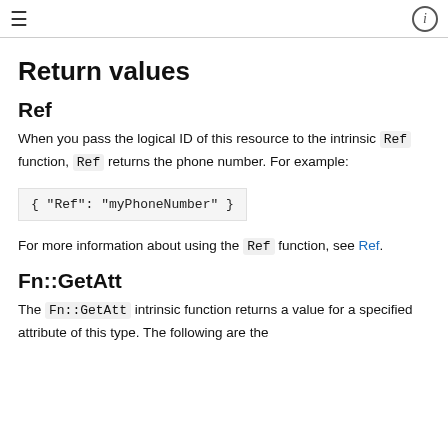≡   ⓘ
Return values
Ref
When you pass the logical ID of this resource to the intrinsic Ref function, Ref returns the phone number. For example:
For more information about using the Ref function, see Ref.
Fn::GetAtt
The Fn::GetAtt intrinsic function returns a value for a specified attribute of this type. The following are the